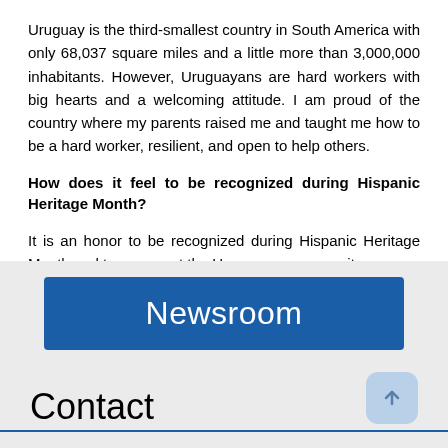Uruguay is the third-smallest country in South America with only 68,037 square miles and a little more than 3,000,000 inhabitants. However, Uruguayans are hard workers with big hearts and a welcoming attitude. I am proud of the country where my parents raised me and taught me how to be a hard worker, resilient, and open to help others.
How does it feel to be recognized during Hispanic Heritage Month?
It is an honor to be recognized during Hispanic Heritage Month and to represent the Uruguayan community.
[Figure (other): Blue Newsroom banner button on a light grey background]
Contact